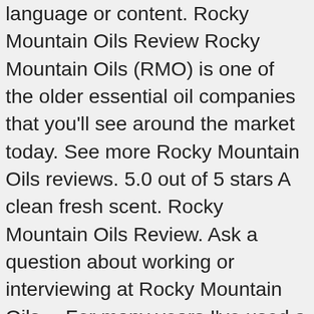language or content. Rocky Mountain Oils Review Rocky Mountain Oils (RMO) is one of the older essential oil companies that you'll see around the market today. See more Rocky Mountain Oils reviews. 5.0 out of 5 stars A clean fresh scent. Rocky Mountain Oils Review. Ask a question about working or interviewing at Rocky Mountain Oils… For many years I've used a combination of oils, including a few from Multi-Level Marketing … There are tons of essential oil companies. Find out more about their STANDARD OPERATING PROCEDURE 100GSOQ PROTOCOL. We would love to know what your experience was. … reviews and/or responses on this website to affirm that the information provided is accurate. © Copyright Essential Oils Review. All Rights Reserved. Rocky Mountain Oils (RMO), founded in 2004, is a leading non-MLM purveyor of 100% pure, natural and authentic essential oils, expertly crafted blends and nutritional products. RMO has a great selection of both singles as well as blends. Please provide your review below. There is no other site we came across that provides this directly through their website. Works great. All of our oils are